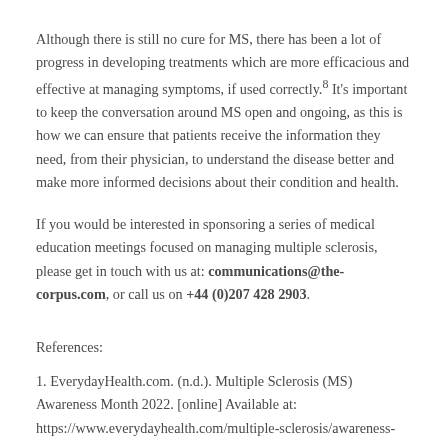Although there is still no cure for MS, there has been a lot of progress in developing treatments which are more efficacious and effective at managing symptoms, if used correctly.8 It's important to keep the conversation around MS open and ongoing, as this is how we can ensure that patients receive the information they need, from their physician, to understand the disease better and make more informed decisions about their condition and health.
If you would be interested in sponsoring a series of medical education meetings focused on managing multiple sclerosis, please get in touch with us at: communications@the-corpus.com, or call us on +44 (0)207 428 2903.
References:
1. EverydayHealth.com. (n.d.). Multiple Sclerosis (MS) Awareness Month 2022. [online] Available at: https://www.everydayhealth.com/multiple-sclerosis/awareness-